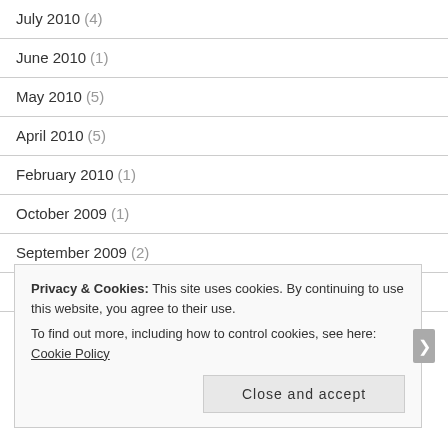July 2010 (4)
June 2010 (1)
May 2010 (5)
April 2010 (5)
February 2010 (1)
October 2009 (1)
September 2009 (2)
August 2009 (1)
July 2009 (2)
Privacy & Cookies: This site uses cookies. By continuing to use this website, you agree to their use. To find out more, including how to control cookies, see here: Cookie Policy
Close and accept